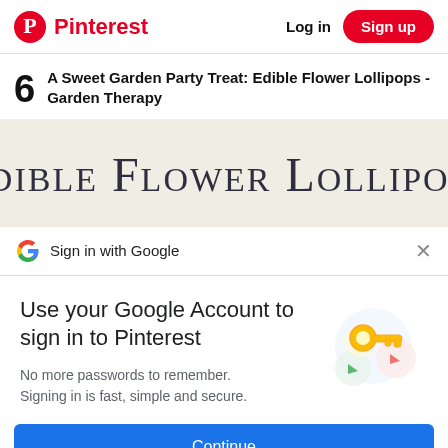Pinterest  Log in  Sign up
6  A Sweet Garden Party Treat: Edible Flower Lollipops - Garden Therapy
[Figure (photo): Stylized text graphic showing 'Edible Flower Lollipops' in a decorative serif font on a light background]
Sign in with Google
Use your Google Account to sign in to Pinterest
No more passwords to remember. Signing in is fast, simple and secure.
[Figure (illustration): Google key illustration with colorful circles and a golden key]
Continue